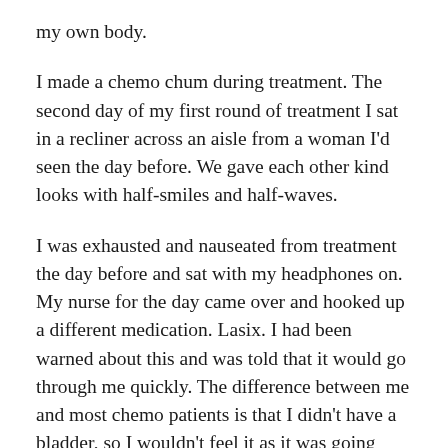my own body.
I made a chemo chum during treatment. The second day of my first round of treatment I sat in a recliner across an aisle from a woman I'd seen the day before. We gave each other kind looks with half-smiles and half-waves.
I was exhausted and nauseated from treatment the day before and sat with my headphones on. My nurse for the day came over and hooked up a different medication. Lasix. I had been warned about this and was told that it would go through me quickly. The difference between me and most chemo patients is that I didn't have a bladder, so I wouldn't feel it as it was going through me!
I closed my eyes for a moment and accidentally dozed off. Disaster struck. The kind woman across